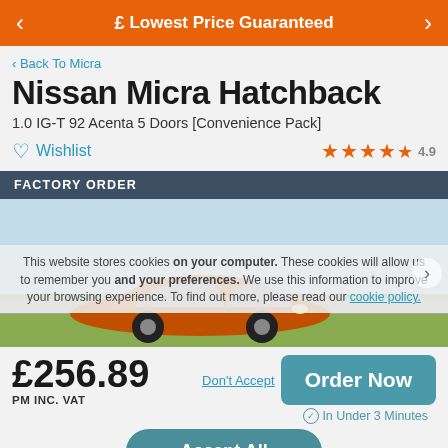£ Lowest Price Guaranteed
Back To Micra
Nissan Micra Hatchback
1.0 IG-T 92 Acenta 5 Doors [Convenience Pack]
Wishlist  ★★★★½ 4.9
FACTORY ORDER
[Figure (photo): Orange Nissan Micra Hatchback shown on a road with green fields and blue sky background]
This website stores cookies on your computer. These cookies will allow us to remember you and your preferences. We use this information to improve your browsing experience. To find out more, please read our cookie policy.
£256.89 PM INC. VAT
Don't Accept
Order Now
In Under 3 Minutes
Accept All
Call 01442 838 195 | Request a Call Back